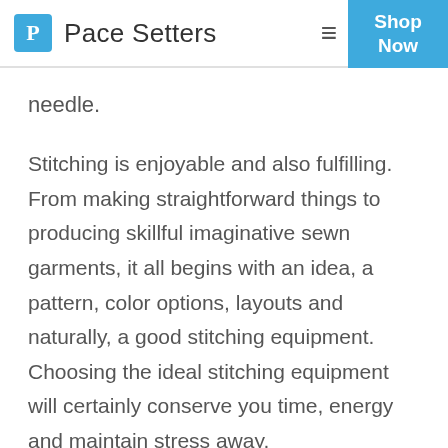Pace Setters — Shop Now
needle.
Stitching is enjoyable and also fulfilling. From making straightforward things to producing skillful imaginative sewn garments, it all begins with an idea, a pattern, color options, layouts and naturally, a good stitching equipment. Choosing the ideal stitching equipment will certainly conserve you time, energy and maintain stress away.